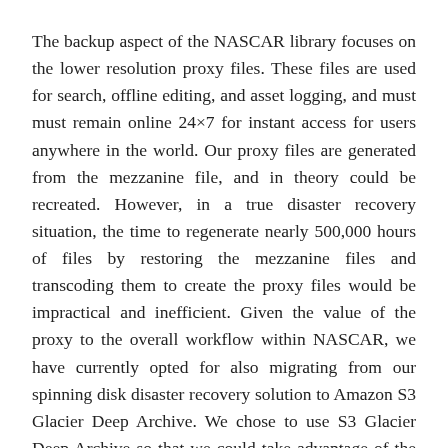The backup aspect of the NASCAR library focuses on the lower resolution proxy files. These files are used for search, offline editing, and asset logging, and must must remain online 24×7 for instant access for users anywhere in the world. Our proxy files are generated from the mezzanine file, and in theory could be recreated. However, in a true disaster recovery situation, the time to regenerate nearly 500,000 hours of files by restoring the mezzanine files and transcoding them to create the proxy files would be impractical and inefficient. Given the value of the proxy to the overall workflow within NASCAR, we have currently opted for also migrating from our spinning disk disaster recovery solution to Amazon S3 Glacier Deep Archive. We chose to use S3 Glacier Deep Archive so that we could take advantage of the amazing cost savings provided by this very low-cost storage class, in large part because the files are only used as a disaster recovery workflow.
The proxy and mezzanine workflows are independent of each other. However, both workflows have been enhanced by migrating the workflows to an AWS Storage and serverless architecture in the